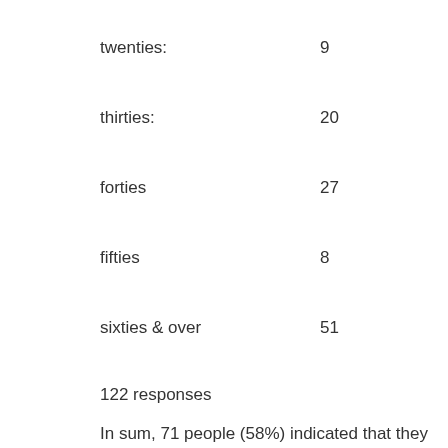twenties:    9
thirties:    20
forties    27
fifties    8
sixties & over    51
122 responses
In sum, 71 people (58%) indicated that they would prefer to be younger, while 51 (42%) were very happy where they were. Most of the latter